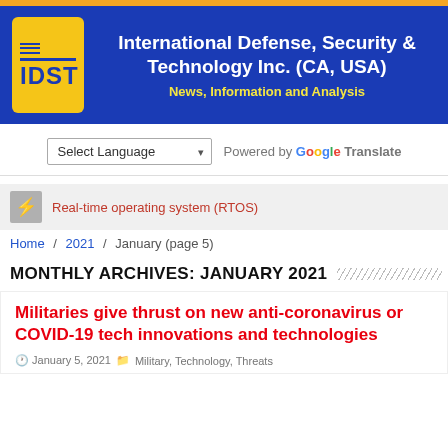[Figure (logo): IDST logo - yellow box with IDST text on blue banner reading International Defense, Security & Technology Inc. (CA, USA) - News, Information and Analysis]
Select Language  Powered by Google Translate
Real-time operating system (RTOS)
Home / 2021 / January (page 5)
MONTHLY ARCHIVES: JANUARY 2021
Militaries give thrust on new anti-coronavirus or COVID-19 tech innovations and technologies
January 5, 2021  Military, Technology, Threats